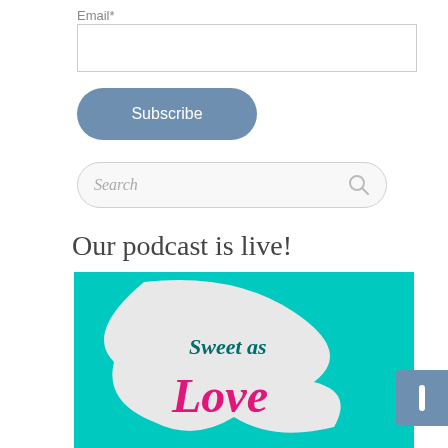Email*
[Figure (screenshot): Email input text field (empty, white background with thin border)]
[Figure (screenshot): Subscribe button, rounded pill shape, slate blue color, white text reading 'Subscribe']
[Figure (screenshot): Search box with rounded pill border, italic placeholder text 'Search' and magnifying glass icon on right]
Our podcast is live!
[Figure (illustration): Podcast artwork on teal/cyan background with a large white abstract speech-bubble shape. Text reads 'Sweet as' in teal serif font and 'Love' in large magenta/pink script font.]